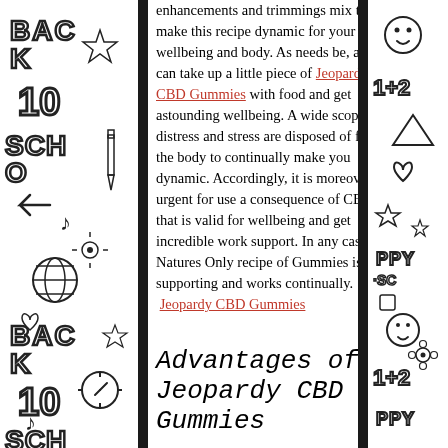[Figure (illustration): Left decorative doodle border with back-to-school themed drawings including text 'BACK TO SCHOOL', numbers '10', musical notes, pencils, globes, and other school-related doodles in black and white sketch style.]
enhancements and trimmings mix to make this recipe dynamic for your wellbeing and body. As needs be, a body can take up a little piece of Jeopardy CBD Gummies with food and get astounding wellbeing. A wide scope of distress and stress are disposed of from the body to continually make you dynamic. Accordingly, it is moreover urgent for use a consequence of CBD that is valid for wellbeing and get incredible work support. In any case, Natures Only recipe of Gummies is supporting and works continually. Jeopardy CBD Gummies
Advantages of Jeopardy CBD Gummies
[Figure (illustration): Right decorative doodle border with back-to-school themed drawings including numbers '1+2', hearts, stars, and other school-related doodles in black and white sketch style.]